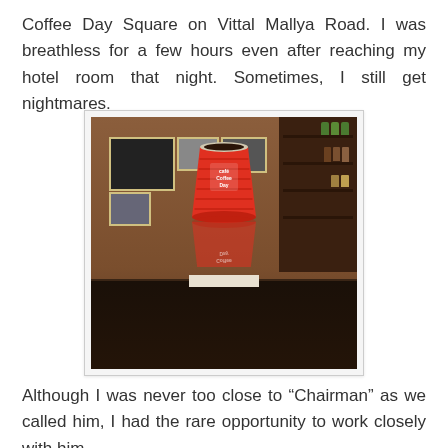Coffee Day Square on Vittal Mallya Road. I was breathless for a few hours even after reaching my hotel room that night. Sometimes, I still get nightmares.
[Figure (photo): A red Café Coffee Day paper cup sitting on a stack of papers on a dark glossy table, reflected in the table surface. Behind the cup is a café interior with warm brown walls, framed photographs, and a bar/shelf area with bottles and products on the right.]
Although I was never too close to “Chairman” as we called him, I had the rare opportunity to work closely with him